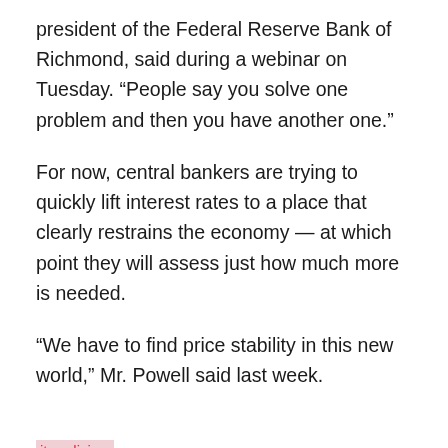president of the Federal Reserve Bank of Richmond, said during a webinar on Tuesday. “People say you solve one problem and then you have another one.”
For now, central bankers are trying to quickly lift interest rates to a place that clearly restrains the economy — at which point they will assess just how much more is needed.
“We have to find price stability in this new world,” Mr. Powell said last week.
its-a-living